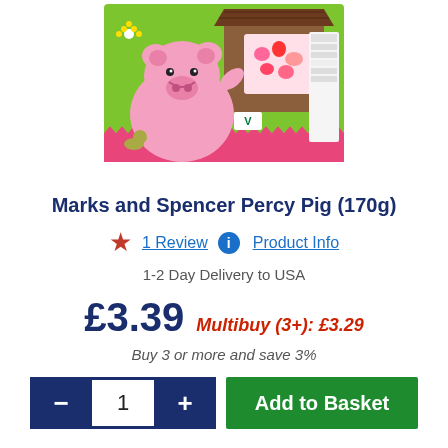[Figure (photo): Product image of Marks and Spencer Percy Pig sweets (170g) - showing a cartoon pig on a green background with a barn/house, with pink and red heart-shaped sweets visible.]
Marks and Spencer Percy Pig (170g)
1 Review   Product Info
1-2 Day Delivery to USA
£3.39  Multibuy (3+): £3.29
Buy 3 or more and save 3%
— 1 +  Add to Basket